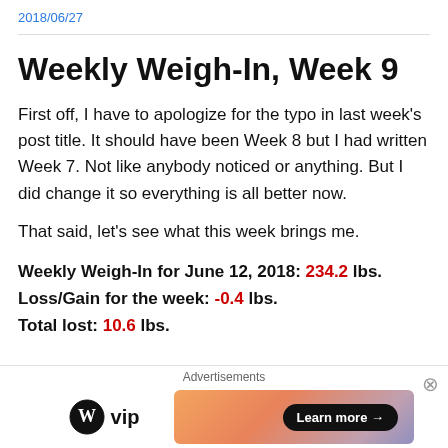2018/06/27
Weekly Weigh-In, Week 9
First off, I have to apologize for the typo in last week's post title. It should have been Week 8 but I had written Week 7. Not like anybody noticed or anything. But I did change it so everything is all better now.
That said, let's see what this week brings me.
Weekly Weigh-In for June 12, 2018: 234.2 lbs.
Loss/Gain for the week: -0.4 lbs.
Total lost: 10.6 lbs.
[Figure (other): Advertisement banner with WordPress VIP logo and a gradient banner with 'Learn more →' button]